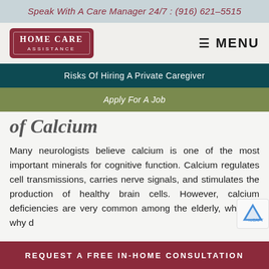Speak With A Care Manager 24/7 : (916) 621-5515
[Figure (logo): Home Care Assistance logo — dark red badge with white text HOME CARE ASSISTANCE]
MENU
Risks Of Hiring A Private Caregiver
Apply For A Job
of Calcium
Many neurologists believe calcium is one of the most important minerals for cognitive function. Calcium regulates cell transmissions, carries nerve signals, and stimulates the production of healthy brain cells. However, calcium deficiencies are very common among the elderly, which is why d…
REQUEST A FREE IN-HOME CONSULTATION